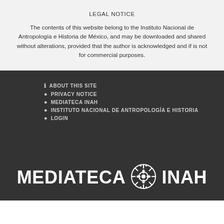LEGAL NOTICE
The contents of this website belong to the Instituto Nacional de Antropología e Historia de México, and may be downloaded and shared without alterations, provided that the author is acknowledged and if is not for commercial purposes.
i ABOUT THIS SITE
● PRIVACY NOTICE
● MEDIATECA INAH
● INSTITUTO NACIONAL DE ANTROPOLOGÍA E HISTORIA
● LOGIN
[Figure (logo): MEDIATECA INAH logo with decorative Aztec sun symbol between the two words]